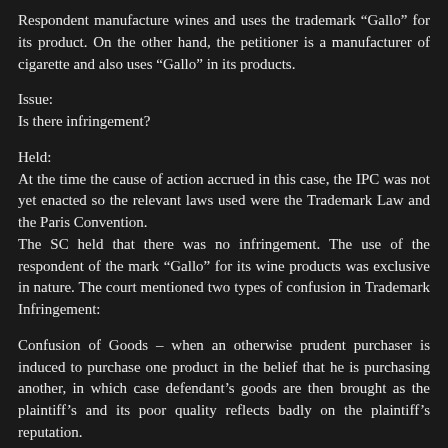Respondent manufacture wines and uses the trademark “Gallo” for its product. On the other hand, the petitioner is a manufacturer of cigarette and also uses “Gallo” in its products.
Issue:
Is there infringement?
Held:
At the time the cause of action accrued in this case, the IPC was not yet enacted so the relevant laws used were the Trademark Law and the Paris Convention.
The SC held that there was no infringement. The use of the respondent of the mark “Gallo” for its wine products was exclusive in nature. The court mentioned two types of confusion in Trademark Infringement:
Confusion of Goods – when an otherwise prudent purchaser is induced to purchase one product in the belief that he is purchasing another, in which case defendant’s goods are then brought as the plaintiff’s and its poor quality reflects badly on the plaintiff’s reputation.
Confusion of Business – wherein the goods of the parties are